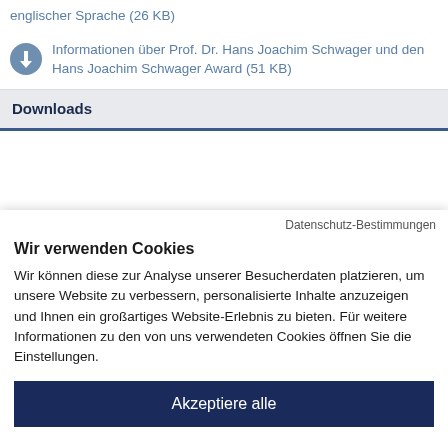englischer Sprache (26 KB)
Informationen über Prof. Dr. Hans Joachim Schwager und den Hans Joachim Schwager Award (51 KB)
Downloads
Datenschutz-Bestimmungen
Wir verwenden Cookies
Wir können diese zur Analyse unserer Besucherdaten platzieren, um unsere Website zu verbessern, personalisierte Inhalte anzuzeigen und Ihnen ein großartiges Website-Erlebnis zu bieten. Für weitere Informationen zu den von uns verwendeten Cookies öffnen Sie die Einstellungen.
Akzeptiere alle
Ablehnen
Anpassen